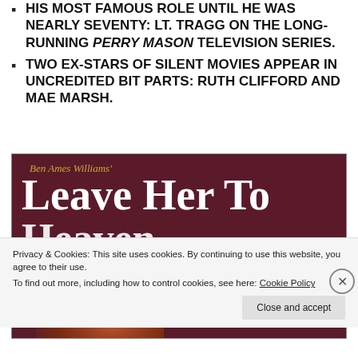HIS MOST FAMOUS ROLE UNTIL HE WAS NEARLY SEVENTY: LT. TRAGG ON THE LONG-RUNNING PERRY MASON TELEVISION SERIES.
TWO EX-STARS OF SILENT MOVIES APPEAR IN UNCREDITED BIT PARTS: RUTH CLIFFORD AND MAE MARSH.
[Figure (photo): Book cover of 'Leave Her To Heaven' by Ben Ames Williams. Dark reddish-brown background with large white serif text. Author name in gold italic at top.]
Privacy & Cookies: This site uses cookies. By continuing to use this website, you agree to their use. To find out more, including how to control cookies, see here: Cookie Policy